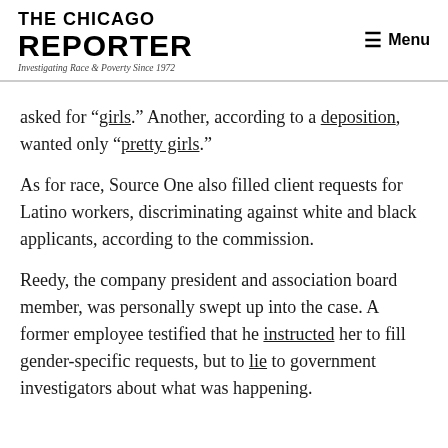THE CHICAGO REPORTER — Investigating Race & Poverty Since 1972 | Menu
asked for “girls.” Another, according to a deposition, wanted only “pretty girls.”
As for race, Source One also filled client requests for Latino workers, discriminating against white and black applicants, according to the commission.
Reedy, the company president and association board member, was personally swept up into the case. A former employee testified that he instructed her to fill gender-specific requests, but to lie to government investigators about what was happening.